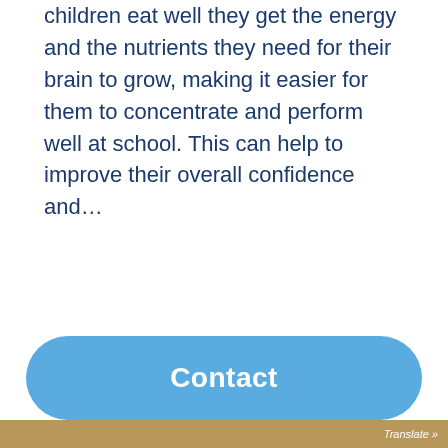children eat well they get the energy and the nutrients they need for their brain to grow, making it easier for them to concentrate and perform well at school. This can help to improve their overall confidence and…
Contact
Translate »